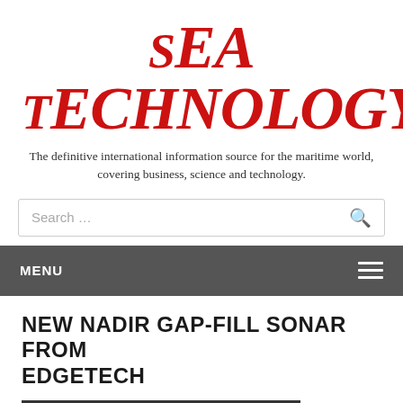[Figure (logo): Sea Technology magazine logo in bold red italic serif font]
The definitive international information source for the maritime world, covering business, science and technology.
Search ...
MENU
NEW NADIR GAP-FILL SONAR FROM EDGETECH
Posted on 09/30/2021